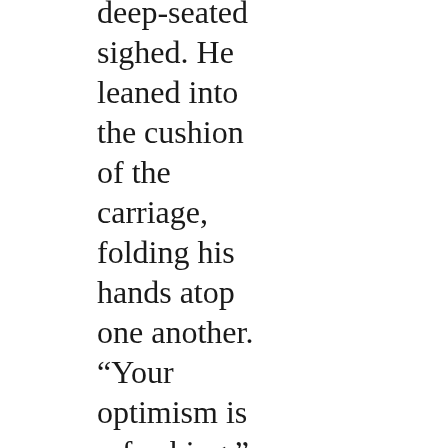deep-seated sighed. He leaned into the cushion of the carriage, folding his hands atop one another. “Your optimism is refreshing.”

Milo frowned. A pause. He heard the